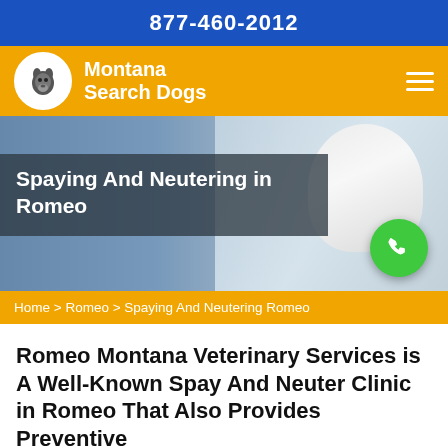877-460-2012
[Figure (logo): Montana Search Dogs logo with dog silhouette in white circle on orange navbar, hamburger menu icon on right]
[Figure (photo): Hero image showing a veterinarian and a person holding a white cat, with a semi-transparent dark overlay containing the page title and a green phone call button]
Spaying And Neutering in Romeo
Home > Romeo > Spaying And Neutering Romeo
Romeo Montana Veterinary Services is A Well-Known Spay And Neuter Clinic in Romeo That Also Provides Preventive